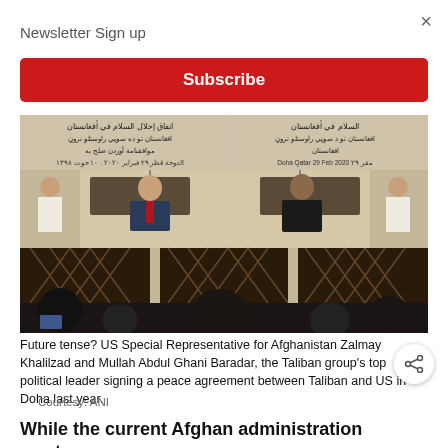Newsletter Sign up
Subscribe
[Figure (photo): US Special Representative for Afghanistan Zalmay Khalilzad and Mullah Abdul Ghani Baradar, the Taliban group's top political leader, signing a peace agreement between Taliban and US in Doha. Arabic and Pashto text banners visible in background. Audience seated in foreground.]
Future tense? US Special Representative for Afghanistan Zalmay Khalilzad and Mullah Abdul Ghani Baradar, the Taliban group's top political leader signing a peace agreement between Taliban and US in Doha last year.
Courtesy: ANI
While the current Afghan administration wants the peace to remain aligned with the...